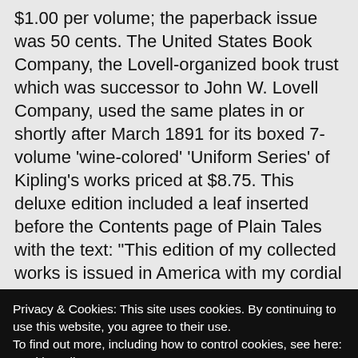$1.00 per volume; the paperback issue was 50 cents. The United States Book Company, the Lovell-organized book trust which was successor to John W. Lovell Company, used the same plates in or shortly after March 1891 for its boxed 7-volume ‘wine-colored’ ‘Uniform Series’ of Kipling’s works priced at $8.75. This deluxe edition included a leaf inserted before the Contents page of Plain Tales with the text: “This edition of my collected works is issued in America with my cordial sanction. RUDYARD KIPLING. London, March, 1891.”
Privacy & Cookies: This site uses cookies. By continuing to use this website, you agree to their use.
To find out more, including how to control cookies, see here:
Cookie Policy
Close and accept
published on 29 May 1890 as No. 98 in